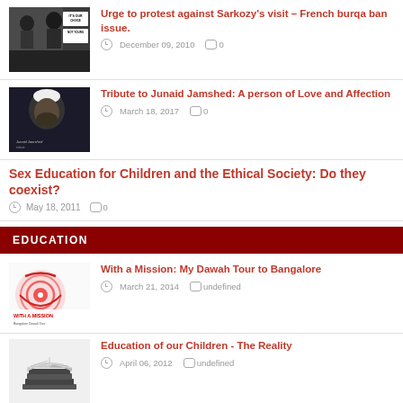[Figure (photo): Protest photo with signs reading 'IT'S OUR CHOICE NOT YOURS']
Urge to protest against Sarkozy's visit – French burqa ban issue.
December 09, 2010   0
[Figure (photo): Dark portrait photo of Junaid Jamshed in white cap, with italic text overlay]
Tribute to Junaid Jamshed: A person of Love and Affection
March 18, 2017   0
Sex Education for Children and the Ethical Society: Do they coexist?
May 18, 2011   0
EDUCATION
[Figure (photo): Mission tour graphic with red/white spiral target and text 'WITH A MISSION']
With a Mission: My Dawah Tour to Bangalore
March 21, 2014   undefined
[Figure (photo): Stack of books with an open book on top]
Education of our Children - The Reality
April 06, 2012   undefined
[Figure (photo): Thumbnail with teal/green label 'Parents']
The vicious circle of Education – Parents, Teachers